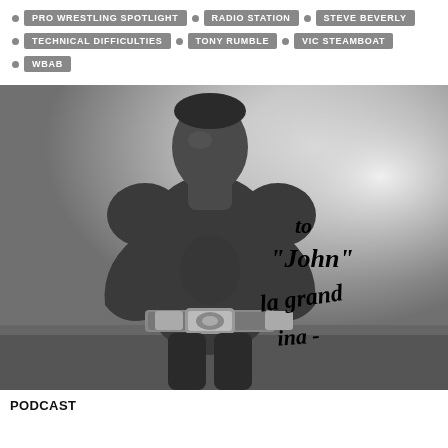PRO WRESTLING SPOTLIGHT  RADIO STATION  STEVE BEVERLY
TECHNICAL DIFFICULTIES  TONY RUMBLE  VIC STEAMBOAT
WBAB
[Figure (photo): Black and white autographed photo of a muscular shirtless professional wrestler wearing a championship belt, posed with hands on hips. Autograph reads 'to John' followed by cursive signature in black marker.]
PODCAST